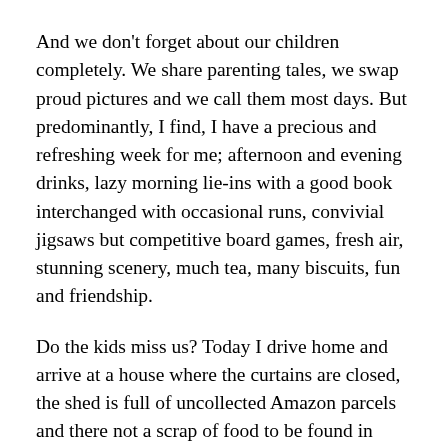And we don't forget about our children completely. We share parenting tales, we swap proud pictures and we call them most days. But predominantly, I find, I have a precious and refreshing week for me; afternoon and evening drinks, lazy morning lie-ins with a good book interchanged with occasional runs, convivial jigsaws but competitive board games, fresh air, stunning scenery, much tea, many biscuits, fun and friendship.
Do the kids miss us? Today I drive home and arrive at a house where the curtains are closed, the shed is full of uncollected Amazon parcels and there not a scrap of food to be found in fridge or cupboard. But those who are in welcome me back with hugs and smiles, so even if they haven't missed me, even if they have had a lovely break from my 'mum – nagging', I think they are pretty pleased